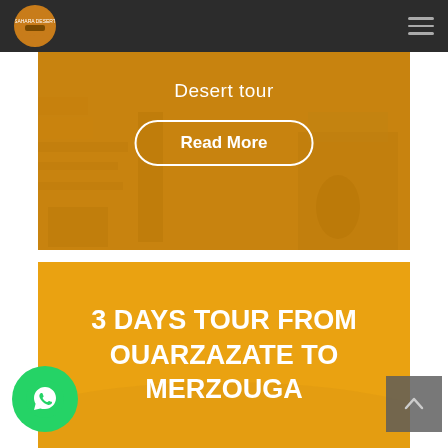Navigation bar with logo and hamburger menu
[Figure (photo): Orange-tinted image of a desert shop or market interior with text 'Desert tour' and a 'Read More' button]
3 DAYS TOUR FROM OUARZAZATE TO MERZOUGA
[Figure (other): WhatsApp contact button (green circle with phone icon)]
[Figure (other): Scroll to top button (grey square with up arrow)]